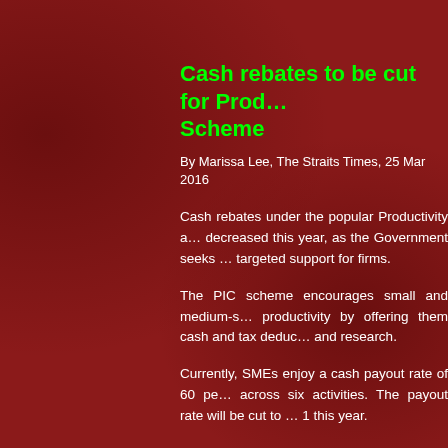Cash rebates to be cut for Productivity and Innovation Scheme
By Marissa Lee, The Straits Times, 25 Mar 2016
Cash rebates under the popular Productivity and Innovation Credit scheme will be decreased this year, as the Government seeks to move towards more targeted support for firms.
The PIC scheme encourages small and medium-sized enterprises to improve productivity by offering them cash and tax deductions for training, innovation and research.
Currently, SMEs enjoy a cash payout rate of 60 per cent on qualifying expenditure across six activities. The payout rate will be cut to 40 per cent from Aug 1 this year.
The scheme also allows SMEs to claim 400 per c...